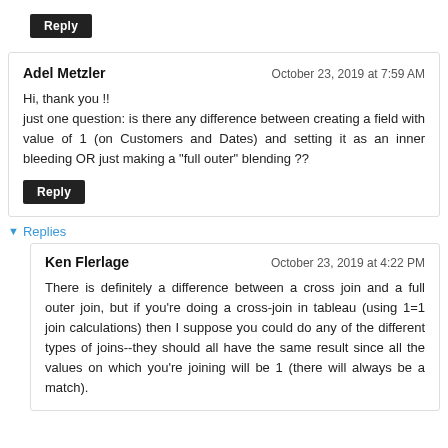Reply
Adel Metzler — October 23, 2019 at 7:59 AM
Hi, thank you !!
just one question: is there any difference between creating a field with value of 1 (on Customers and Dates) and setting it as an inner bleeding OR just making a "full outer" blending ??
Reply
▼ Replies
Ken Flerlage — October 23, 2019 at 4:22 PM
There is definitely a difference between a cross join and a full outer join, but if you're doing a cross-join in tableau (using 1=1 join calculations) then I suppose you could do any of the different types of joins--they should all have the same result since all the values on which you're joining will be 1 (there will always be a match).